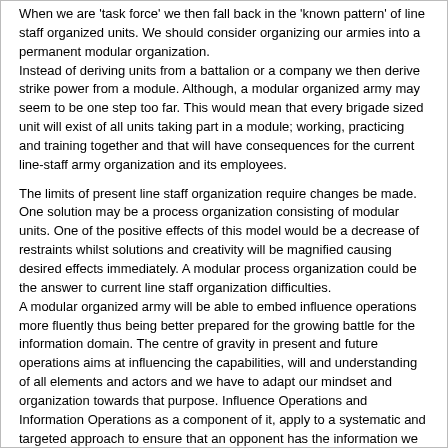When we are 'task force' we then fall back in the 'known pattern' of line staff organized units. We should consider organizing our armies into a permanent modular organization.
Instead of deriving units from a battalion or a company we then derive strike power from a module. Although, a modular organized army may seem to be one step too far. This would mean that every brigade sized unit will exist of all units taking part in a module; working, practicing and training together and that will have consequences for the current line-staff army organization and its employees.
The limits of present line staff organization require changes be made. One solution may be a process organization consisting of modular units. One of the positive effects of this model would be a decrease of restraints whilst solutions and creativity will be magnified causing desired effects immediately. A modular process organization could be the answer to current line staff organization difficulties.
A modular organized army will be able to embed influence operations more fluently thus being better prepared for the growing battle for the information domain. The centre of gravity in present and future operations aims at influencing the capabilities, will and understanding of all elements and actors and we have to adapt our mindset and organization towards that purpose. Influence Operations and Information Operations as a component of it, apply to a systematic and targeted approach to ensure that an opponent has the information we want him to have and which will lead him to make the decisions which act in our favor and to his disadvantage.
It's important to realize that the increasing population growth, combined with an ever-expanding urbanization, will have a decreasing effect on maneuver space for traditional warfare. The control of the information domain will be one of the important targets.
Influencing perception might be more important then facts in the future fight for energy, water, food and living space. In such a perception there is no space for stove piped visions like “kinetic elements” or “non-kinetic elements” as the interconnection and the mutual influence of these concepts are fundamental in a coexisting permissive, semi permissive and non permissive environment.
In current and future conflicts we will most likely find ourselves in a fight which is put up against a hardly determinable opponent who uses a tuned